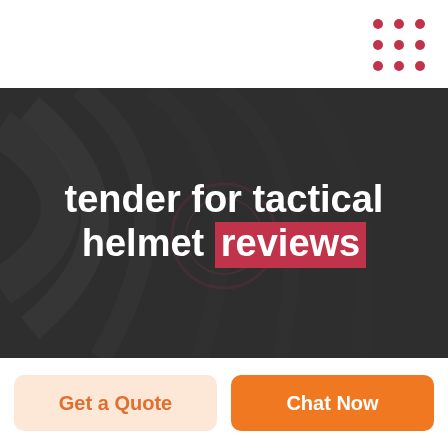[Figure (other): Dot grid logo decoration in crimson/pink, 3x3 grid of dots in top-right corner]
[Figure (photo): Dark grey background photo of a tactical helmet, dimly lit with dramatic lighting creating curved shadow patterns. Large bold white text overlay reads 'tender for tactical helmet reviews' with the word 'reviews' highlighted in a dark red/crimson rectangular background.]
tender for tactical helmet reviews
Get a Quote
Chat Now